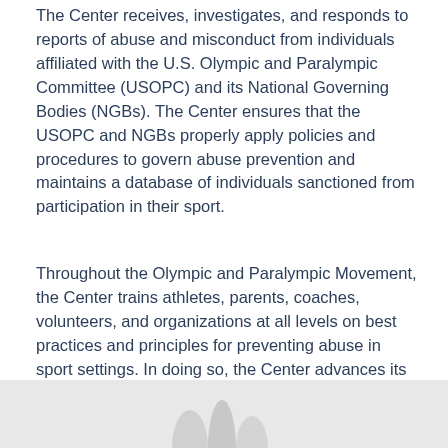The Center receives, investigates, and responds to reports of abuse and misconduct from individuals affiliated with the U.S. Olympic and Paralympic Committee (USOPC) and its National Governing Bodies (NGBs). The Center ensures that the USOPC and NGBs properly apply policies and procedures to govern abuse prevention and maintains a database of individuals sanctioned from participation in their sport.
Throughout the Olympic and Paralympic Movement, the Center trains athletes, parents, coaches, volunteers, and organizations at all levels on best practices and principles for preventing abuse in sport settings. In doing so, the Center advances its mission of making athlete well-being the center of our nation's sports culture through abuse prevention, education, and accountability.
[Figure (photo): Partial view of a photo at the bottom of the page showing light-colored shapes or figures against a light background, cropped at page edge.]